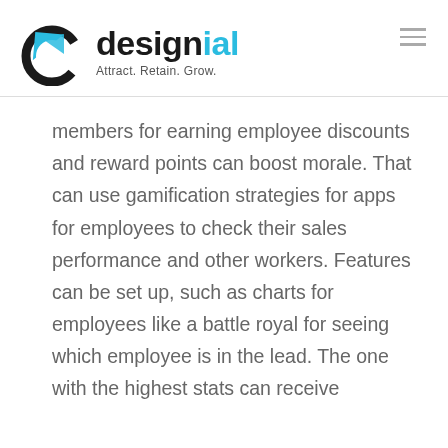designial — Attract. Retain. Grow.
members for earning employee discounts and reward points can boost morale. That can use gamification strategies for apps for employees to check their sales performance and other workers. Features can be set up, such as charts for employees like a battle royal for seeing which employee is in the lead. The one with the highest stats can receive